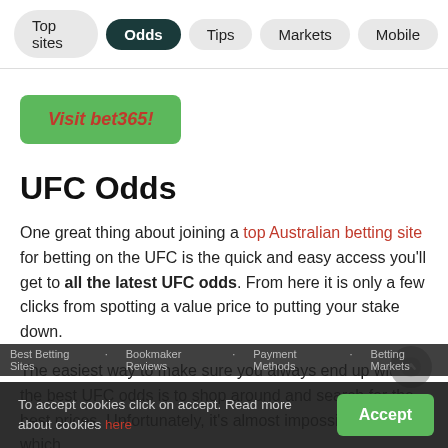Top sites | Odds | Tips | Markets | Mobile
[Figure (other): Green call-to-action button: Visit bet365!]
UFC Odds
One great thing about joining a top Australian betting site for betting on the UFC is the quick and easy access you'll get to all the latest UFC odds. From here it is only a few clicks from spotting a value price to putting your stake down.
The easiest way to make sure you always end up with the best UFC odds is to shop around and search for the best prices. Unfortunately, it's almost impossible to say which
To accept cookies click on accept. Read more about cookies here
Best Betting Sites · Bookmaker Reviews · Payment Methods · Betting Markets